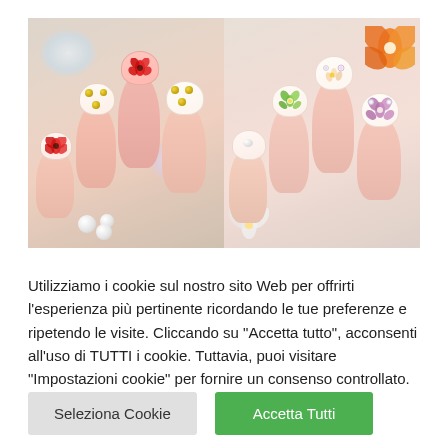[Figure (photo): Two side-by-side photos of decorated fingernails: left photo shows nails with gold polka dots and red floral nail art designs; right photo shows natural pink nails with rhinestones and floral sticker decorations.]
Utilizziamo i cookie sul nostro sito Web per offrirti l'esperienza più pertinente ricordando le tue preferenze e ripetendo le visite. Cliccando su "Accetta tutto", acconsenti all'uso di TUTTI i cookie. Tuttavia, puoi visitare "Impostazioni cookie" per fornire un consenso controllato.
Seleziona Cookie
Accetta Tutti